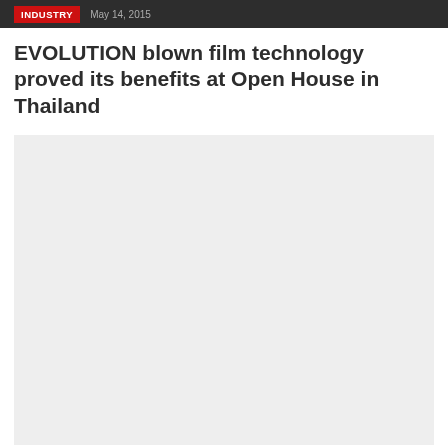INDUSTRY   May 14, 2015
EVOLUTION blown film technology proved its benefits at Open House in Thailand
[Figure (photo): Large placeholder image area (light gray) showing an event or machinery photo related to the EVOLUTION blown film technology Open House in Thailand. Image content not fully visible.]
[Figure (photo): Row of three thumbnail images at the bottom, shown as red bars, related to the article.]